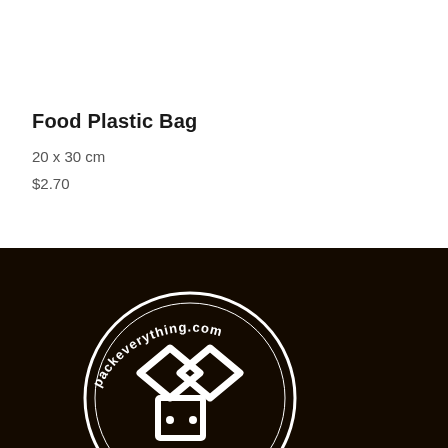Food Plastic Bag
20 x 30 cm
$2.70
[Figure (logo): packeverything.com circular logo with white box/package icon on dark brown/black background, partially visible at bottom of page]